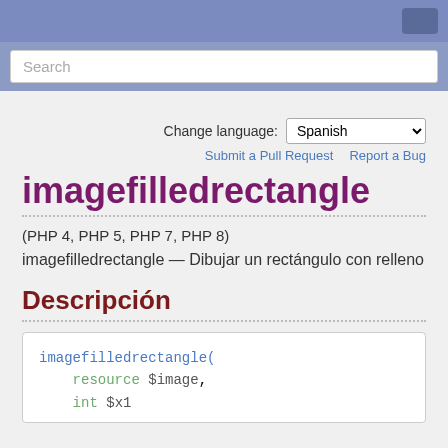Search
Change language: Spanish
Submit a Pull Request   Report a Bug
imagefilledrectangle
(PHP 4, PHP 5, PHP 7, PHP 8)
imagefilledrectangle — Dibujar un rectángulo con relleno
Descripción
imagefilledrectangle(
    resource $image,
    int $x1